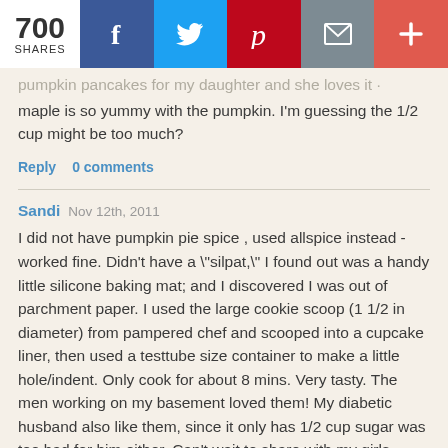700 SHARES | Facebook | Twitter | Pinterest | Email | Plus
pumpkin pancakes for my daughter and she loves it - maple is so yummy with the pumpkin. I'm guessing the 1/2 cup might be too much?
Reply   0 comments
Sandi   Nov 12th, 2011
I did not have pumpkin pie spice , used allspice instead - worked fine. Didn't have a "silpat," I found out was a handy little silicone baking mat; and I discovered I was out of parchment paper. I used the large cookie scoop (1 1/2 in diameter) from pampered chef and scooped into a cupcake liner, then used a testtube size container to make a little hole/indent. Only cook for about 8 mins. Very tasty. The men working on my basement loved them! My diabetic husband also like them, since it only has 1/2 cup sugar was too bad for him either. Can't wait to share with my girls (when they get home for Christmas).